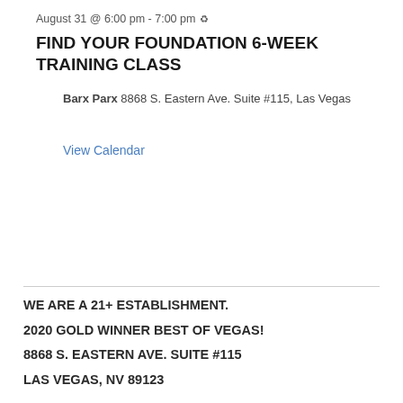August 31 @ 6:00 pm - 7:00 pm ↺
FIND YOUR FOUNDATION 6-WEEK TRAINING CLASS
Barx Parx 8868 S. Eastern Ave. Suite #115, Las Vegas
View Calendar
WE ARE A 21+ ESTABLISHMENT.
2020 GOLD WINNER BEST OF VEGAS!
8868 S. EASTERN AVE. SUITE #115
LAS VEGAS, NV 89123